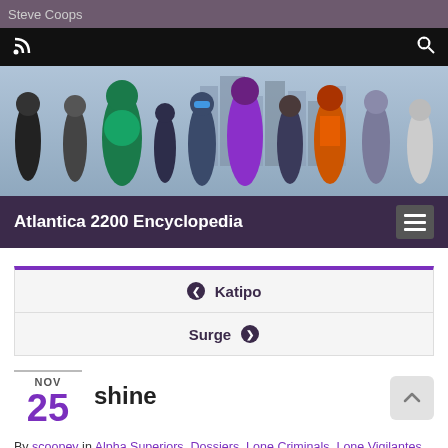Steve Coops
[Figure (screenshot): Black navigation bar with RSS icon on left and search icon on right]
[Figure (photo): Hero banner image showing group of superhero characters in costumes standing against a city skyline background]
Atlantica 2200 Encyclopedia
❮ Katipo
Surge ❯
NOV 25
shine
By scoopey in Alpha Superiors, Dossiers, Lone Criminals, Lone Vigilantes, Vigilantes